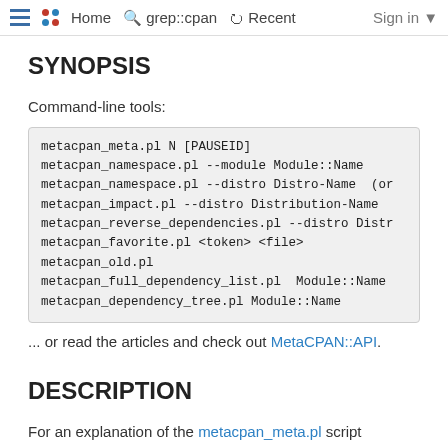Home  grep::cpan  Recent  Sign in
SYNOPSIS
Command-line tools:
metacpan_meta.pl N [PAUSEID]
metacpan_namespace.pl --module Module::Name
metacpan_namespace.pl --distro Distro-Name  (or
metacpan_impact.pl --distro Distribution-Name
metacpan_reverse_dependencies.pl --distro Distr
metacpan_favorite.pl <token> <file>
metacpan_old.pl
metacpan_full_dependency_list.pl  Module::Name
metacpan_dependency_tree.pl Module::Name
... or read the articles and check out MetaCPAN::API.
DESCRIPTION
For an explanation of the metacpan_meta.pl script